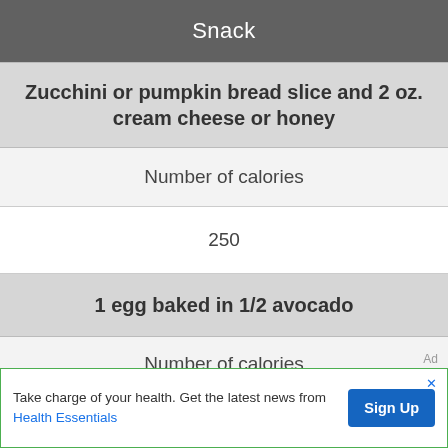Snack
Zucchini or pumpkin bread slice and 2 oz. cream cheese or honey
Number of calories
250
1 egg baked in 1/2 avocado
Number of calories
Take charge of your health. Get the latest news from Health Essentials
Sign Up